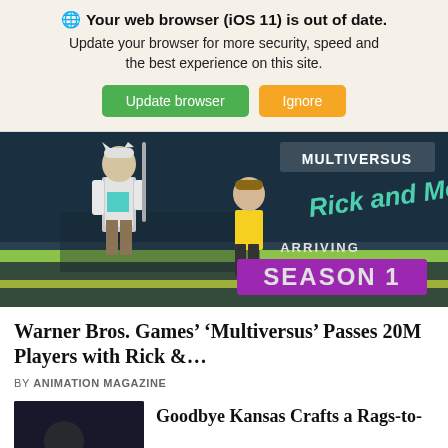🌐 Your web browser (iOS 11) is out of date. Update your browser for more security, speed and the best experience on this site.
Update browser | Ignore
[Figure (photo): Screenshot of MultiVersus game featuring Rick and Morty characters with 'Arriving Season 1' text overlay and Multiversus logo.]
Warner Bros. Games' 'Multiversus' Passes 20M Players with Rick &...
BY ANIMATION MAGAZINE
Goodbye Kansas Crafts a Rags-to-